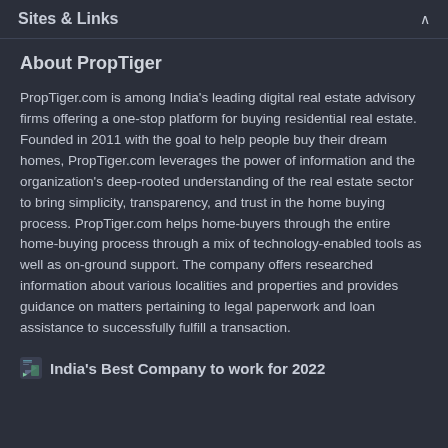Sites & Links
About PropTiger
PropTiger.com is among India's leading digital real estate advisory firms offering a one-stop platform for buying residential real estate. Founded in 2011 with the goal to help people buy their dream homes, PropTiger.com leverages the power of information and the organization's deep-rooted understanding of the real estate sector to bring simplicity, transparency, and trust in the home buying process. PropTiger.com helps home-buyers through the entire home-buying process through a mix of technology-enabled tools as well as on-ground support. The company offers researched information about various localities and properties and provides guidance on matters pertaining to legal paperwork and loan assistance to successfully fulfill a transaction.
India's Best Company to work for 2022